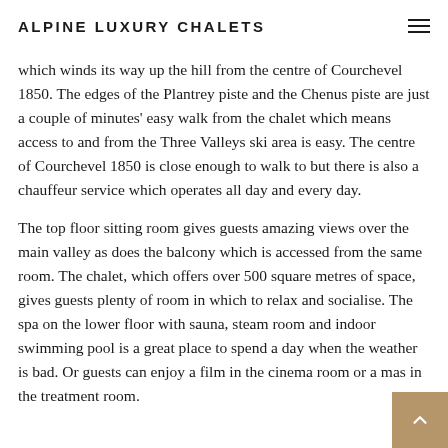ALPINE LUXURY CHALETS
which winds its way up the hill from the centre of Courchevel 1850. The edges of the Plantrey piste and the Chenus piste are just a couple of minutes' easy walk from the chalet which means access to and from the Three Valleys ski area is easy. The centre of Courchevel 1850 is close enough to walk to but there is also a chauffeur service which operates all day and every day.
The top floor sitting room gives guests amazing views over the main valley as does the balcony which is accessed from the same room. The chalet, which offers over 500 square metres of space, gives guests plenty of room in which to relax and socialise. The spa on the lower floor with sauna, steam room and indoor swimming pool is a great place to spend a day when the weather is bad. Or guests can enjoy a film in the cinema room or a mas… in the treatment room.